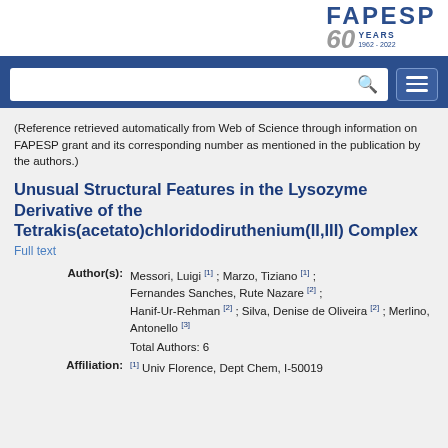[Figure (logo): FAPESP 60 Years 1962-2022 logo in top right corner]
(Reference retrieved automatically from Web of Science through information on FAPESP grant and its corresponding number as mentioned in the publication by the authors.)
Unusual Structural Features in the Lysozyme Derivative of the Tetrakis(acetato)chloridodiruthenium(II,III) Complex
Full text
| Field | Value |
| --- | --- |
| Author(s): | Messori, Luigi [1] ; Marzo, Tiziano [1] ; Fernandes Sanches, Rute Nazare [2] ; Hanif-Ur-Rehman [2] ; Silva, Denise de Oliveira [2] ; Merlino, Antonello [3] |
|  | Total Authors: 6 |
| Affiliation: | [1] Univ Florence, Dept Chem, I-50019 |